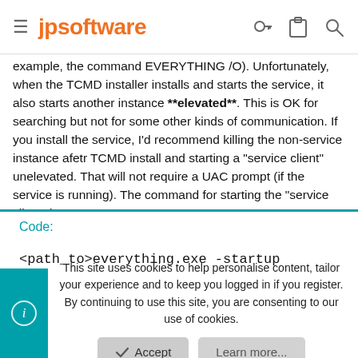jpsoftware
example, the command EVERYTHING /O). Unfortunately, when the TCMD installer installs and starts the service, it also starts another instance **elevated**. This is OK for searching but not for some other kinds of communication. If you install the service, I'd recommend killing the non-service instance afetr TCMD install and starting a "service client" unelevated. That will not require a UAC prompt (if the service is running). The command for starting the "service client" is
Code:

<path_to>everything.exe -startup
This site uses cookies to help personalise content, tailor your experience and to keep you logged in if you register.
By continuing to use this site, you are consenting to our use of cookies.